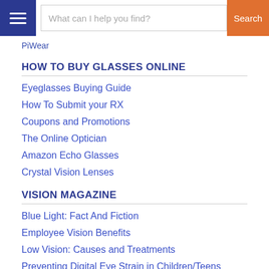What can I help you find? Search
PiWear
HOW TO BUY GLASSES ONLINE
Eyeglasses Buying Guide
How To Submit your RX
Coupons and Promotions
The Online Optician
Amazon Echo Glasses
Crystal Vision Lenses
VISION MAGAZINE
Blue Light: Fact And Fiction
Employee Vision Benefits
Low Vision: Causes and Treatments
Preventing Digital Eye Strain in Children/Teens